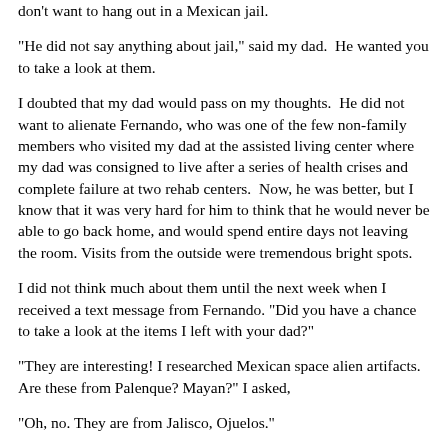don't want to hang out in a Mexican jail.
"He did not say anything about jail," said my dad.  He wanted you to take a look at them.
I doubted that my dad would pass on my thoughts.  He did not want to alienate Fernando, who was one of the few non-family members who visited my dad at the assisted living center where my dad was consigned to live after a series of health crises and complete failure at two rehab centers.  Now, he was better, but I know that it was very hard for him to think that he would never be able to go back home, and would spend entire days not leaving the room. Visits from the outside were tremendous bright spots.
I did not think much about them until the next week when I received a text message from Fernando. "Did you have a chance to take a look at the items I left with your dad?"
"They are interesting! I researched Mexican space alien artifacts. Are these from Palenque? Mayan?" I asked,
"Oh, no. They are from Jalisco, Ojuelos."